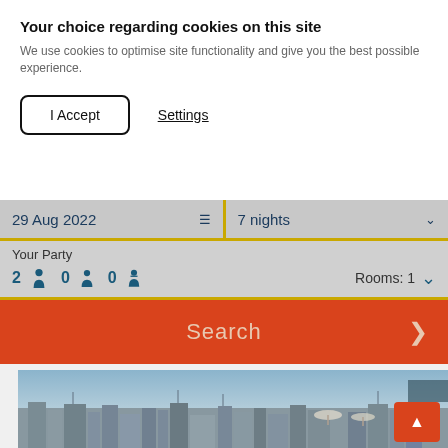Your choice regarding cookies on this site
We use cookies to optimise site functionality and give you the best possible experience.
I Accept | Settings
29 Aug 2022 | 7 nights
Your Party
2 [adult] 0 [child] 0 [infant] | Rooms: 1
Search
[Figure (photo): Rooftop view of a Mediterranean town with buildings, antennas, parasols and sea in background under a blue sky.]